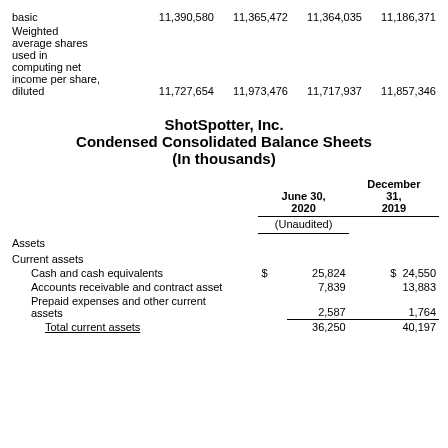|  |  |  |  |  |
| --- | --- | --- | --- | --- |
| basic | 11,390,580 | 11,365,472 | 11,364,035 | 11,186,371 |
| Weighted average shares used in computing net income per share, diluted | 11,727,654 | 11,973,476 | 11,717,937 | 11,857,346 |
ShotSpotter, Inc.
Condensed Consolidated Balance Sheets
(In thousands)
|  | June 30, 2020 (Unaudited) | December 31, 2019 |
| --- | --- | --- |
| Assets |  |  |
| Current assets |  |  |
| Cash and cash equivalents | $ 25,824 | $ 24,550 |
| Accounts receivable and contract asset | 7,839 | 13,883 |
| Prepaid expenses and other current assets | 2,587 | 1,764 |
| Total current assets | 36,250 | 40,197 |